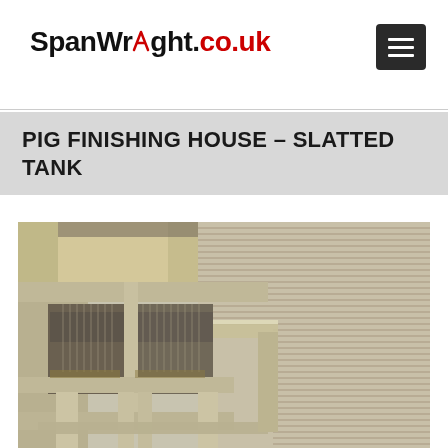SpanWright.co.uk
PIG FINISHING HOUSE – SLATTED TANK
[Figure (photo): Aerial/overhead view of a pig finishing house construction showing a concrete slatted tank system with precast concrete slats laid over a slurry pit, with supporting pillars and beams visible underneath, alongside solid concrete flooring sections.]